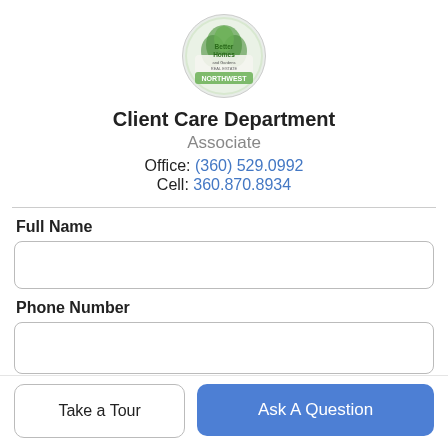[Figure (logo): Better Homes and Gardens Real Estate Northwest circular logo with green foliage and text]
Client Care Department
Associate
Office: (360) 529.0992
Cell: 360.870.8934
Full Name
Phone Number
Take a Tour
Ask A Question